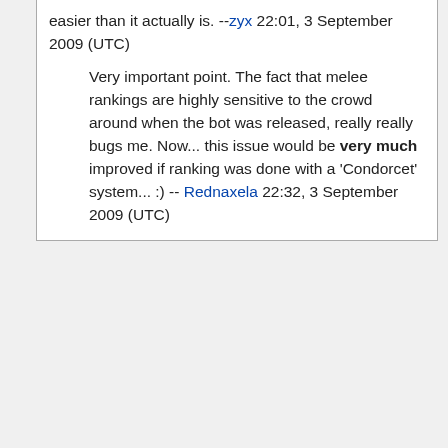easier than it actually is. --zyx 22:01, 3 September 2009 (UTC)
Very important point. The fact that melee rankings are highly sensitive to the crowd around when the bot was released, really really bugs me. Now... this issue would be very much improved if ranking was done with a 'Condorcet' system... :) -- Rednaxela 22:32, 3 September 2009 (UTC)
Content is available under Creative Commons Attribution-ShareAlike unless otherwise noted.
Privacy policy · About Robowiki · Disclaimers